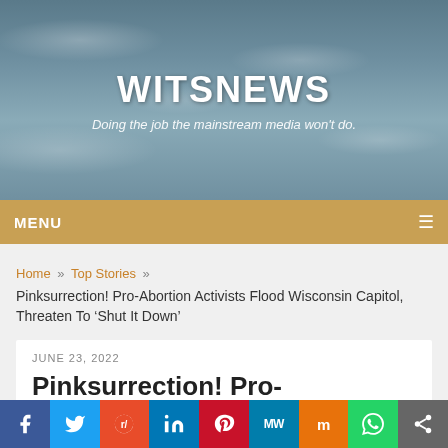WITSNEWS
Doing the job the mainstream media won't do.
MENU
Home » Top Stories » Pinksurrection! Pro-Abortion Activists Flood Wisconsin Capitol, Threaten To ‘Shut It Down’
JUNE 23, 2022
Pinksurrection! Pro-Abortion Activists Flood